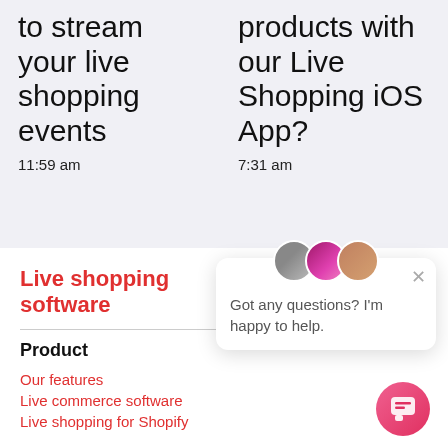to stream your live shopping events
11:59 am
products with our Live Shopping iOS App?
7:31 am
Live shopping software
Product
[Figure (illustration): Chat popup with two avatars showing 'Got any questions? I'm happy to help.' message and a close button]
Our features
Live commerce software
Live shopping for Shopify